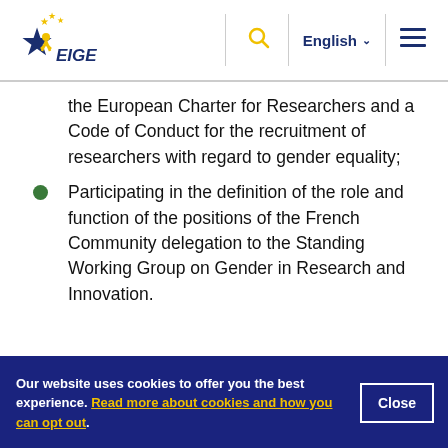EIGE | English
the European Charter for Researchers and a Code of Conduct for the recruitment of researchers with regard to gender equality;
Participating in the definition of the role and function of the positions of the French Community delegation to the Standing Working Group on Gender in Research and Innovation.
Our website uses cookies to offer you the best experience. Read more about cookies and how you can opt out.